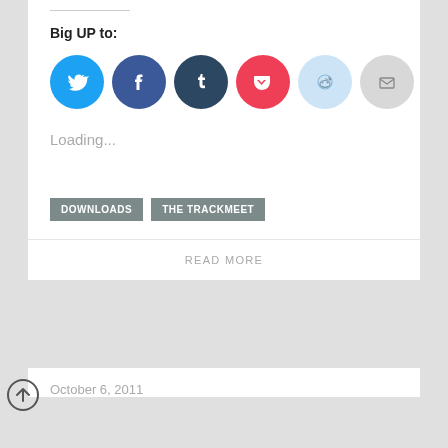Big UP to:
[Figure (infographic): Six social sharing icon circles: Twitter (cyan), Facebook (blue), Tumblr (dark navy), Pocket (red), Reddit (light blue), Email (light gray)]
Loading...
DOWNLOADS
THE TRACKMEET
READ MORE
October 6, 2011